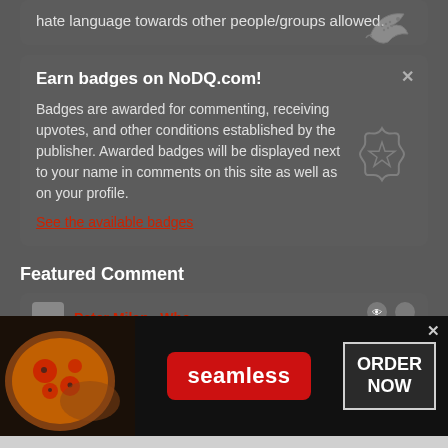hate language towards other people/groups allowed.
Earn badges on NoDQ.com!
Badges are awarded for commenting, receiving upvotes, and other conditions established by the publisher. Awarded badges will be displayed next to your name in comments on this site as well as on your profile.
See the available badges
Featured Comment
[Figure (screenshot): Seamless food delivery advertisement banner with pizza image, red Seamless logo button, and ORDER NOW button]
ORDER NOW